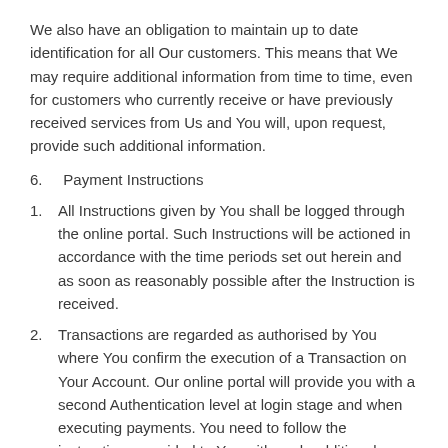We also have an obligation to maintain up to date identification for all Our customers. This means that We may require additional information from time to time, even for customers who currently receive or have previously received services from Us and You will, upon request, provide such additional information.
6.    Payment Instructions
1. All Instructions given by You shall be logged through the online portal. Such Instructions will be actioned in accordance with the time periods set out herein and as soon as reasonably possible after the Instruction is received.
2. Transactions are regarded as authorised by You where You confirm the execution of a Transaction on Your Account. Our online portal will provide you with a second Authentication level at login stage and when executing payments. You need to follow the instructions provided to You with such additional security measures.
3. Where We reasonably believe that an Instruction purporting to come from You has not been properly authorised by You or that